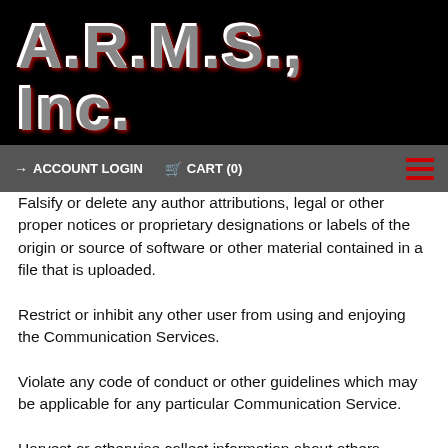A.R.M.S., Inc.
→ ACCOUNT LOGIN   🛒 CART (0)
Falsify or delete any author attributions, legal or other proper notices or proprietary designations or labels of the origin or source of software or other material contained in a file that is uploaded.
Restrict or inhibit any other user from using and enjoying the Communication Services.
Violate any code of conduct or other guidelines which may be applicable for any particular Communication Service.
Harvest or otherwise collect information about others, including e-mail addresses, without their consent.
Violate any applicable laws or regulations.